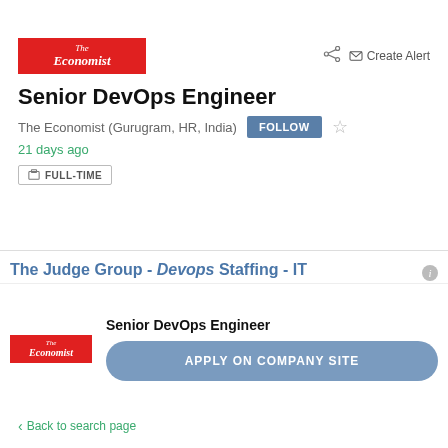[Figure (logo): The Economist logo — red rectangle with white serif text reading 'The Economist']
Senior DevOps Engineer
The Economist (Gurugram, HR, India)
21 days ago
FULL-TIME
The Judge Group - Devops Staffing - IT
[Figure (logo): The Economist small logo — red rectangle with white serif text]
Senior DevOps Engineer
APPLY ON COMPANY SITE
Back to search page